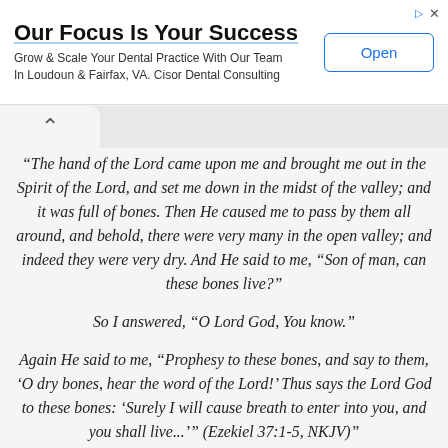[Figure (other): Advertisement banner: 'Our Focus Is Your Success' - Cisor Dental Consulting with Open button]
“The hand of the Lord came upon me and brought me out in the Spirit of the Lord, and set me down in the midst of the valley; and it was full of bones. Then He caused me to pass by them all around, and behold, there were very many in the open valley; and indeed they were very dry. And He said to me, “Son of man, can these bones live?”
So I answered, “O Lord God, You know.”
Again He said to me, “Prophesy to these bones, and say to them, ‘O dry bones, hear the word of the Lord!’ Thus says the Lord God to these bones: ‘Surely I will cause breath to enter into you, and you shall live...’” (Ezekiel 37:1-5, NKJV)